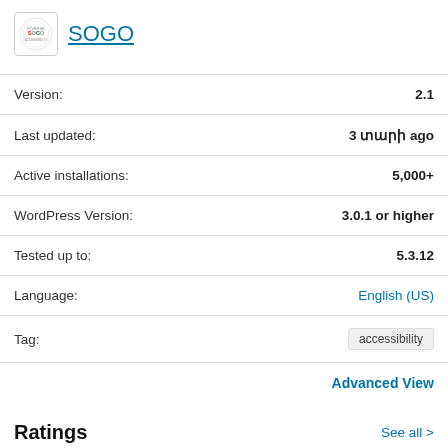[Figure (logo): SOGO plugin logo with circular icon and blue underlined SOGO text link]
| Version: | 2.1 |
| Last updated: | 3 տարի ago |
| Active installations: | 5,000+ |
| WordPress Version: | 3.0.1 or higher |
| Tested up to: | 5.3.12 |
| Language: | English (US) |
| Tag: | accessibility |
Advanced View
Ratings
See all >